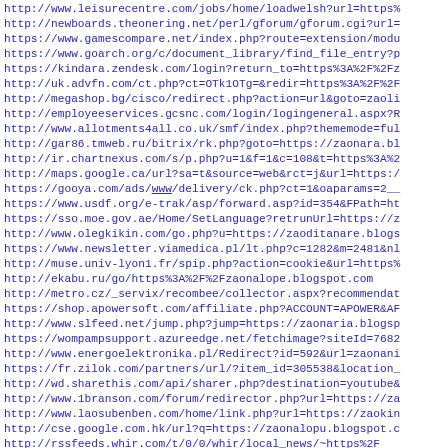http://www.leisurecentre.com/jobs/home/loadwelsh?url=https%
http://newboards.theonering.net/perl/gforum/gforum.cgi?url=
https://www.gamescompare.net/index.php?route=extension/modu
https://www.goarch.org/c/document_library/find_file_entry?p
https://kindara.zendesk.com/login?return_to=https%3A%2F%2Fz
http://uk.advfn.com/ct.php?ct=OTk1OTg=&redir=https%3A%2F%2F
http://megashop.bg/cisco/redirect.php?action=url&goto=zaoli
http://employeeservices.gcsnc.com/login/logingeneral.aspx?R
http://www.allotments4all.co.uk/smf/index.php?thememode=ful
http://gar86.tmweb.ru/bitrix/rk.php?goto=https://zaonara.bl
http://ir.chartnexus.com/s/p.php?u=1&f=1&c=108&t=https%3A%2
http://maps.google.ca/url?sa=t&source=web&rct=j&url=https:/
https://gooya.com/ads/www/delivery/ck.php?ct=1&oaparams=2__
https://www.usdf.org/e-trak/asp/forward.asp?id=354&FPath=ht
https://sso.moe.gov.ae/Home/SetLanguage?retrunUrl=https://z
http://www.olegkikin.com/go.php?u=https://zaoditanare.blogs
https://www.newsletter.viamedica.pl/lt.php?c=1282&m=2481&nl
http://muse.univ-lyon1.fr/spip.php?action=cookie&url=https%
http://ekabu.ru/go/https%3A%2F%2Fzaonalope.blogspot.com
http://metro.cz/_servix/recombee/collector.aspx?recommendat
https://shop.apowersoft.com/affiliate.php?ACCOUNT=APOWER&AF
http://www.slfeed.net/jump.php?jump=https://zaonaria.blogsp
https://wompampsupport.azureedge.net/fetchimage?siteId=7682
http://www.energoelektronika.pl/Redirect?id=592&url=zaonani
https://fr.zilok.com/partners/url/?item_id=305538&location_
http://wd.sharethis.com/api/sharer.php?destination=youtube&
http://www.1branson.com/forum/redirector.php?url=https://za
http://www.laosubenben.com/home/link.php?url=https://zaokin
http://cse.google.com.hk/url?q=https://zaonalopu.blogspot.c
http://rssfeeds.whir.com/t/0/0/whir/local_news/~https%2F